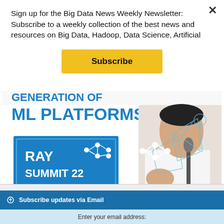Sign up for the Big Data News Weekly Newsletter: Subscribe to a weekly collection of the best news and resources on Big Data, Hadoop, Data Science, Artificial
Subscribe
[Figure (illustration): Ray Summit 22 by Anyscale banner showing ML Platforms heading with a speaker holding a microphone on the right side, blue and white design with network graph icon]
Subscribe updates via Email
Enter your email address: